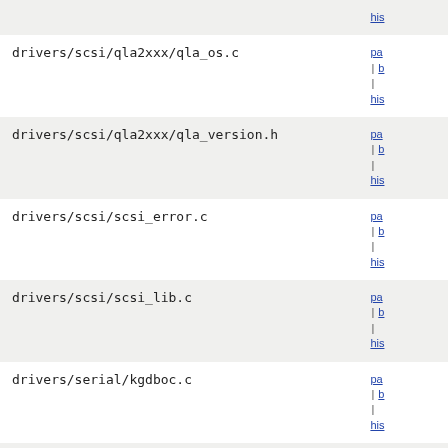| filename | links |
| --- | --- |
| drivers/scsi/qla2xxx/qla_os.c | pa | b | his |
| drivers/scsi/qla2xxx/qla_version.h | pa | b | his |
| drivers/scsi/scsi_error.c | pa | b | his |
| drivers/scsi/scsi_lib.c | pa | b | his |
| drivers/serial/kgdboc.c | pa | b | his |
| drivers/usb/atm/usbatm.c | pa | b | his |
| drivers/vhost/vhost.c | pa | b | his |
| drivers/video/modedb.c | pa | b | his |
| fs/btrfs/disk-io.c | pa | b | his |
| fs/btrfs/... | pa | b | his |